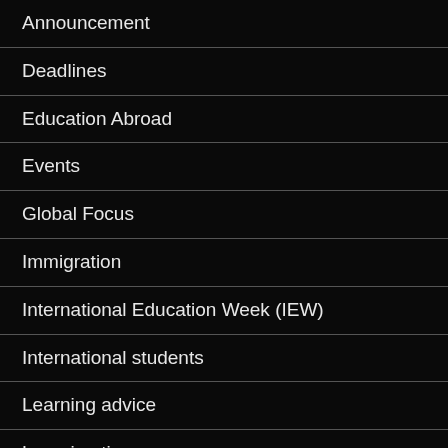Announcement
Deadlines
Education Abroad
Events
Global Focus
Immigration
International Education Week (IEW)
International students
Learning advice
Learning tips
Local resources
Opportunities